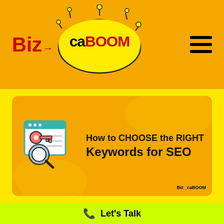[Figure (logo): BizCaBOOM logo with explosion cloud bubble on orange background with hamburger menu icon]
[Figure (infographic): Card with browser/key icon and text 'How to CHOOSE the RIGHT Keywords for SEO' on orange background inside yellow section]
Let's Talk